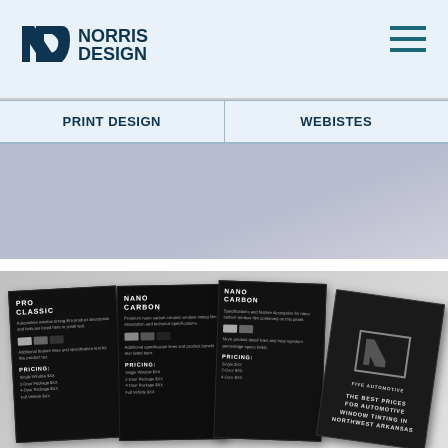[Figure (logo): Norris Design logo with stylized ND monogram icon and text NORRIS DESIGN, plus hamburger menu icon on the right]
| PRINT DESIGN | WEBISTES |
| --- | --- |
[Figure (photo): Partial view of stationery/business card mockup on a light lavender background]
[Figure (photo): Automotive window tinting brochure mockup showing a dark tri-fold or quad-fold brochure with PRO CLASSIC, NANO CARBON sections, pricing, and text THE BEST PRICES FOR AUTOMOTIVE WINDOW TINTING IN NORTHWEST ARKANSAS on the back cover]